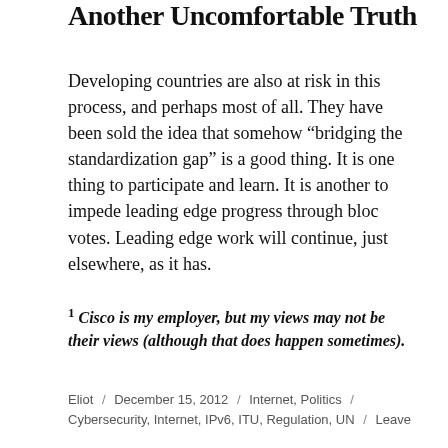Another Uncomfortable Truth
Developing countries are also at risk in this process, and perhaps most of all.  They have been sold the idea that somehow “bridging the standardization gap” is a good thing.   It is one thing to participate and learn.  It is another to impede leading edge progress through bloc votes.  Leading edge work will continue, just elsewhere, as it has.
¹ Cisco is my employer, but my views may not be their views (although that does happen sometimes).
Eliot / December 15, 2012 / Internet, Politics / Cybersecurity, Internet, IPv6, ITU, Regulation, UN / Leave